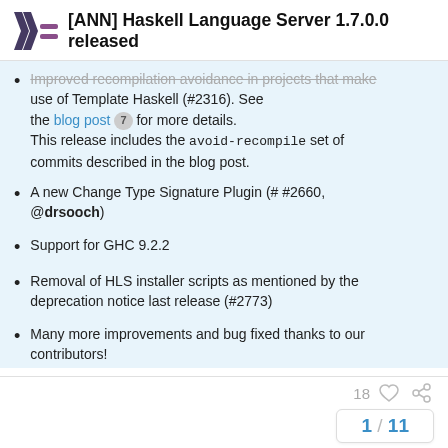[ANN] Haskell Language Server 1.7.0.0 released
Improved recompilation avoidance in projects that make use of Template Haskell (#2316). See the blog post 7 for more details. This release includes the avoid-recompile set of commits described in the blog post.
A new Change Type Signature Plugin (# #2660, @drsooch)
Support for GHC 9.2.2
Removal of HLS installer scripts as mentioned by the deprecation notice last release (#2773)
Many more improvements and bug fixed thanks to our contributors!
18  1 / 11